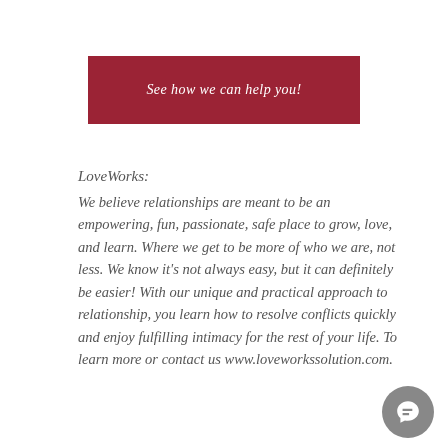See how we can help you!
LoveWorks:
We believe relationships are meant to be an empowering, fun, passionate, safe place to grow, love, and learn. Where we get to be more of who we are, not less. We know it's not always easy, but it can definitely be easier! With our unique and practical approach to relationship, you learn how to resolve conflicts quickly and enjoy fulfilling intimacy for the rest of your life. To learn more or contact us www.loveworkssolution.com.